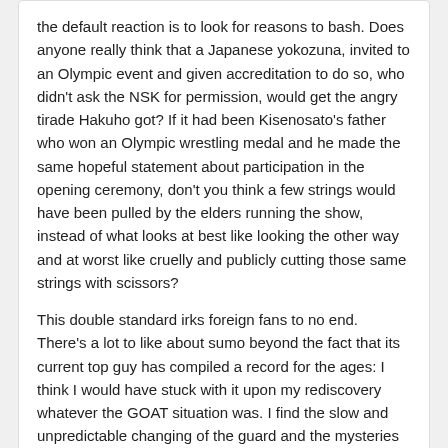the default reaction is to look for reasons to bash. Does anyone really think that a Japanese yokozuna, invited to an Olympic event and given accreditation to do so, who didn't ask the NSK for permission, would get the angry tirade Hakuho got? If it had been Kisenosato's father who won an Olympic wrestling medal and he made the same hopeful statement about participation in the opening ceremony, don't you think a few strings would have been pulled by the elders running the show, instead of what looks at best like looking the other way and at worst like cruelly and publicly cutting those same strings with scissors?

This double standard irks foreign fans to no end. There's a lot to like about sumo beyond the fact that its current top guy has compiled a record for the ages: I think I would have stuck with it upon my rediscovery whatever the GOAT situation was. I find the slow and unpredictable changing of the guard and the mysteries of the ranking system fascinating. But the trend toward unpreferential treatment for some is perpetually troubling and does not seem to be going away.
5
Godango +633